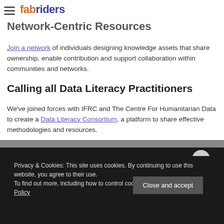fabriders — Network-Centric Resources
Join a network of individuals designing knowledge assets that share ownership, enable contribution and support collaboration within communities and networks.
Calling all Data Literacy Practitioners
We've joined forces with IFRC and The Centre For Humanitarian Data to create a Data Literacy Consortium, a platform to share effective methodologies and resources.
Privacy & Cookies: This site uses cookies. By continuing to use this website, you agree to their use.
To find out more, including how to control cookies, see here: Cookie Policy
Close and accept